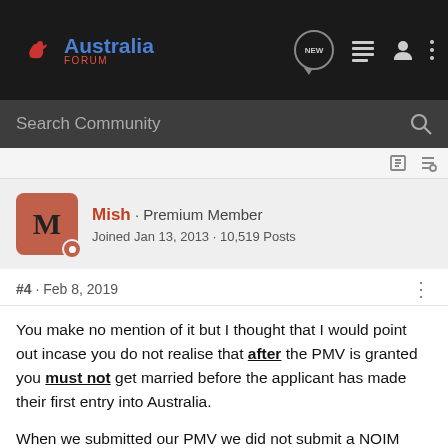[Figure (logo): Australia Forum logo with kangaroo icon and blue/red text on dark navigation bar]
Search Community
Mish · Premium Member
Joined Jan 13, 2013 · 10,519 Posts
#4 · Feb 8, 2019
You make no mention of it but I thought that I would point out incase you do not realise that after the PMV is granted you must not get married before the applicant has made their first entry into Australia.
When we submitted our PMV we did not submit a NOIM because the celebrant wanted both signatures (some celebrants are like that) but we did submit a letter from the celebrant. The case officer requested that we supply a NOIM